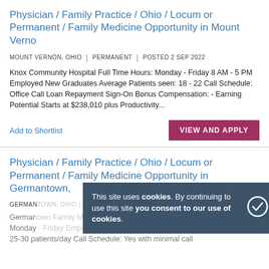Physician / Family Practice / Ohio / Locum or Permanent / Family Medicine Opportunity in Mount Verno
MOUNT VERNON, OHIO  |  PERMANENT  |  POSTED 2 SEP 2022
Knox Community Hospital Full Time Hours: Monday - Friday 8 AM - 5 PM Employed New Graduates Average Patients seen: 18 - 22 Call Schedule: Office Call Loan Repayment Sign-On Bonus Compensation: - Earning Potential Starts at $238,010 plus Productivity...
Add to Shortlist
Physician / Family Practice / Ohio / Locum or Permanent / Family Medicine Opportunity in Germantown,
GERMAN...
Germantown Family Medicine Full Time Hours: 8am - 5pm Monday - Friday Employed New Graduates Average Patients seen: 25-30 patients/day Call Schedule: Yes with minimal call
This site uses cookies. By continuing to use this site you consent to our use of cookies.